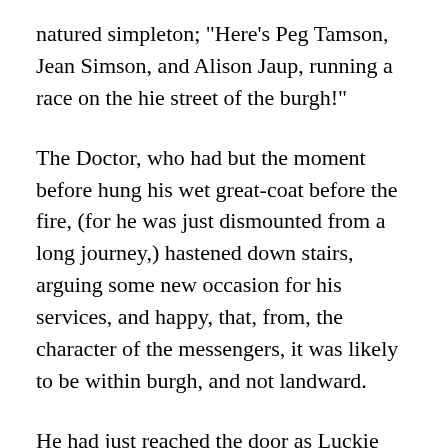natured simpleton; "Here's Peg Tamson, Jean Simson, and Alison Jaup, running a race on the hie street of the burgh!"
The Doctor, who had but the moment before hung his wet great-coat before the fire, (for he was just dismounted from a long journey,) hastened down stairs, arguing some new occasion for his services, and happy, that, from, the character of the messengers, it was likely to be within burgh, and not landward.
He had just reached the door as Luckie Simson, one of the racers, arrived in the little area before it. She had got the start, and kept it, but at the expense, for the time, of her power of utterance; for when she came in presence of the Doctor, she stood blowing like a